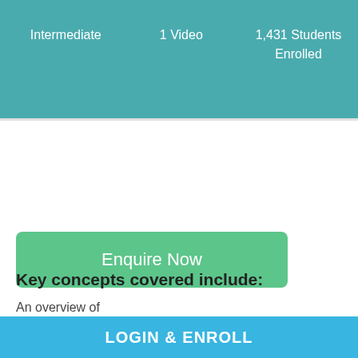Intermediate   1 Video   1,431 Students Enrolled
[Figure (other): Enquire Now button — green rounded rectangle]
Key concepts covered include:
An overview of
ICU and its importance
LOGIN & ENROLL